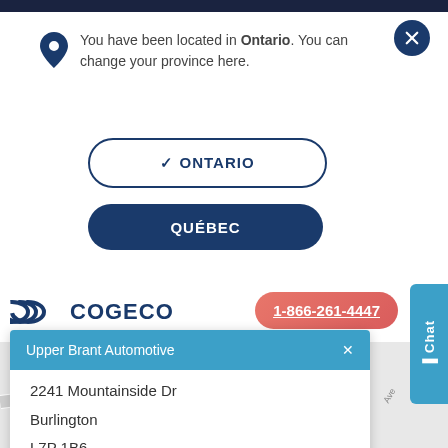You have been located in Ontario. You can change your province here.
✓ ONTARIO
QUÉBEC
[Figure (logo): Cogeco logo with stylized C icon and wordmark in dark navy blue]
1-866-261-4447
[Figure (map): Google Maps background showing roads including Dunbar road area]
Upper Brant Automotive
2241 Mountainside Dr
Burlington
L7P 1B6
Chat